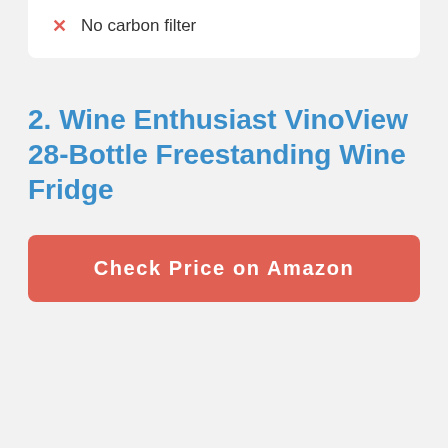No carbon filter
2. Wine Enthusiast VinoView 28-Bottle Freestanding Wine Fridge
Check Price on Amazon